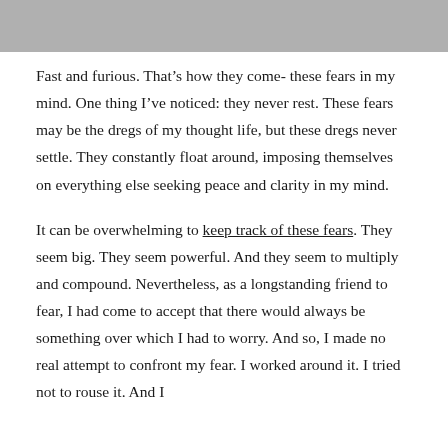[Figure (photo): Partial photograph visible at the top of the page, cropped — shows people in light and dark clothing.]
Fast and furious. That’s how they come- these fears in my mind. One thing I’ve noticed: they never rest. These fears may be the dregs of my thought life, but these dregs never settle. They constantly float around, imposing themselves on everything else seeking peace and clarity in my mind.
It can be overwhelming to keep track of these fears. They seem big. They seem powerful. And they seem to multiply and compound. Nevertheless, as a longstanding friend to fear, I had come to accept that there would always be something over which I had to worry. And so, I made no real attempt to confront my fear. I worked around it. I tried not to rouse it. And I